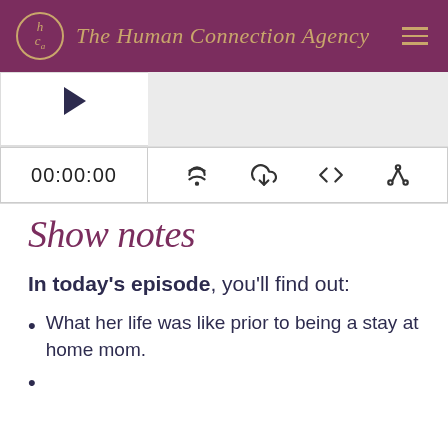The Human Connection Agency
[Figure (screenshot): Podcast player with play button, waveform, timestamp 00:00:00, and control icons (RSS, download, embed, share)]
Show notes
In today's episode, you'll find out:
What her life was like prior to being a stay at home mom.
(partially visible)